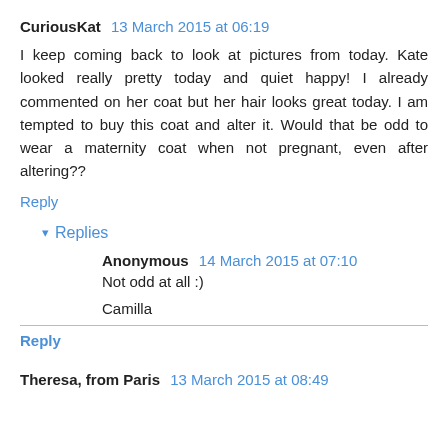CuriousKat  13 March 2015 at 06:19
I keep coming back to look at pictures from today. Kate looked really pretty today and quiet happy! I already commented on her coat but her hair looks great today. I am tempted to buy this coat and alter it. Would that be odd to wear a maternity coat when not pregnant, even after altering??
Reply
▾ Replies
Anonymous  14 March 2015 at 07:10
Not odd at all :)
Camilla
Reply
Theresa, from Paris  13 March 2015 at 08:49